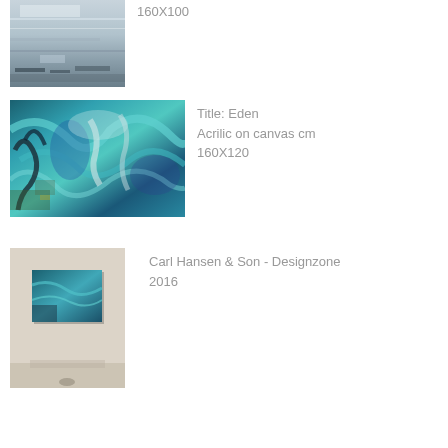[Figure (photo): Partial view of abstract painting with grey and beige tones, light and dark horizontal textures]
160X100
[Figure (photo): Abstract acrylic painting titled Eden with swirling teal, turquoise, blue, green, white, and dark tones]
Title: Eden
Acrilic on canvas cm
160X120
[Figure (photo): Photograph of a painting hanging on a wall, showing an abstract teal and blue artwork leaning/hung in an exhibition space]
Carl Hansen & Son - Designzone
2016